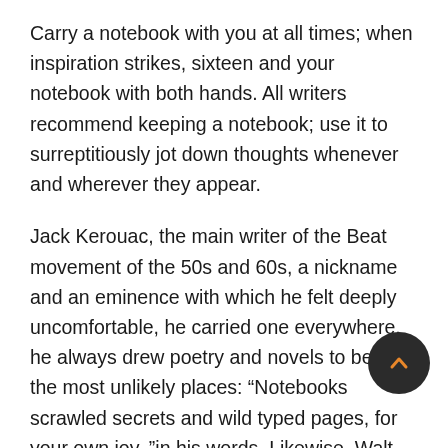Carry a notebook with you at all times; when inspiration strikes, sixteen and your notebook with both hands. All writers recommend keeping a notebook; use it to surreptitiously jot down thoughts whenever and wherever they appear.
Jack Kerouac, the main writer of the Beat movement of the 50s and 60s, a nickname and an eminence with which he felt deeply uncomfortable, he carried one everywhere, he always drew poetry and novels to be in the most unlikely places: “Notebooks scrawled secrets and wild typed pages, for your own joy, ”in his words. Likewise, Walt Whitman, 19th century ‘Father of American Poetry’ and inspiration for Kerouac, who went a step further and brought a comp manuscript, a paperweight-sized package that would day become his “Leaves of Grass.”